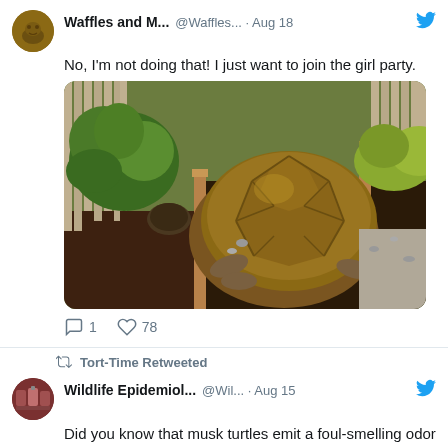[Figure (screenshot): Twitter/social media feed screenshot showing two tweets. First tweet from Waffles and M... @Waffles... Aug 18 with text and tortoise photo. Second tweet retweeted by Tort-Time from Wildlife Epidemiol... @Wil... Aug 15.]
No, I'm not doing that! I just want to join the girl party.
[Figure (photo): Photo of a large tortoise viewed from behind showing shell detail, in a garden with plants and wood raised bed.]
1   78
Tort-Time Retweeted
Did you know that musk turtles emit a foul-smelling odor when threatened? This mechanism earned the tiny musk turtle the nickname of "Stinkpot". This summer, our lab conducted a general health assessment of